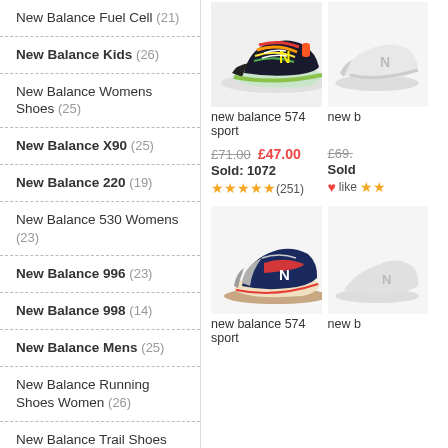New Balance Fuel Cell (21)
New Balance Kids (26)
New Balance Womens Shoes (25)
New Balance X90 (25)
New Balance 220 (19)
New Balance 530 Womens (23)
New Balance 996 (23)
New Balance 998 (14)
New Balance Mens (25)
New Balance Running Shoes Women (26)
New Balance Trail Shoes (27)
New Balance 373 Mens (25)
New Balance 574 Mens (18)
New Balance 577 (15)
New Balance 860V9 (17)
[Figure (photo): New Balance 574 sport colorful sneaker]
new balance 574 sport
£71.00  £47.00
Sold: 1072
★★★★★(251)
£69.
Sold
❤like ★★
[Figure (photo): New Balance 574 sport navy blue kids sneaker]
new balance 574 sport
new b